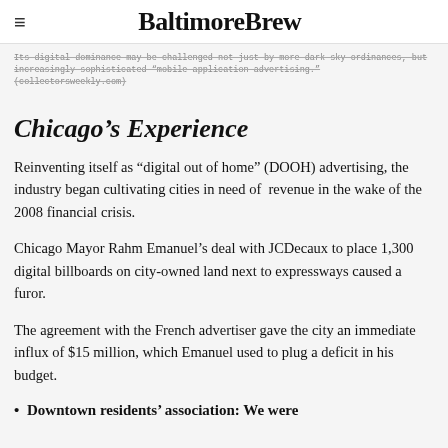BaltimoreBrew
Its digital dominance may be challenged not just by more dark sky ordinances, but increasingly sophisticated “mobile application advertising.” (collectorsweekly.com)
Chicago’s Experience
Reinventing itself as “digital out of home” (DOOH) advertising, the industry began cultivating cities in need of revenue in the wake of the 2008 financial crisis.
Chicago Mayor Rahm Emanuel’s deal with JCDecaux to place 1,300 digital billboards on city-owned land next to expressways caused a furor.
The agreement with the French advertiser gave the city an immediate influx of $15 million, which Emanuel used to plug a deficit in his budget.
Downtown residents’ association: We were